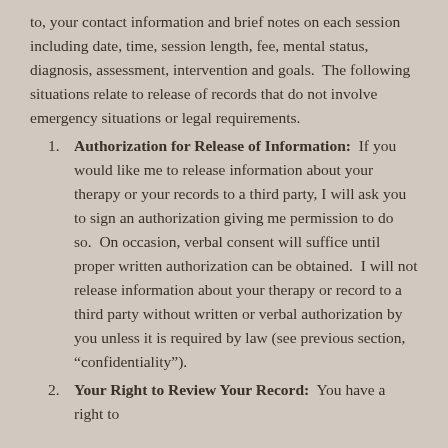to, your contact information and brief notes on each session including date, time, session length, fee, mental status, diagnosis, assessment, intervention and goals.  The following situations relate to release of records that do not involve emergency situations or legal requirements.
Authorization for Release of Information:  If you would like me to release information about your therapy or your records to a third party, I will ask you to sign an authorization giving me permission to do so.  On occasion, verbal consent will suffice until proper written authorization can be obtained.  I will not release information about your therapy or record to a third party without written or verbal authorization by you unless it is required by law (see previous section, “confidentiality”).
Your Right to Review Your Record:  You have a right to